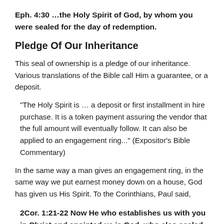Eph. 4:30 …the Holy Spirit of God, by whom you were sealed for the day of redemption.
Pledge Of Our Inheritance
This seal of ownership is a pledge of our inheritance. Various translations of the Bible call Him a guarantee, or a deposit.
"The Holy Spirit is … a deposit or first installment in hire purchase. It is a token payment assuring the vendor that the full amount will eventually follow. It can also be applied to an engagement ring..." (Expositor's Bible Commentary)
In the same way a man gives an engagement ring, in the same way we put earnest money down on a house, God has given us His Spirit. To the Corinthians, Paul said,
2Cor. 1:21-22 Now He who establishes us with you in Christ and anointed us is God, who also sealed us and